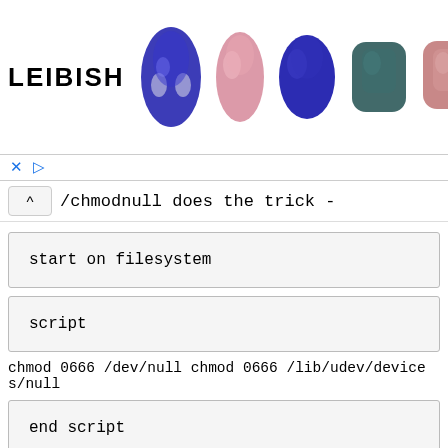[Figure (photo): LEIBISH advertisement banner showing logo and five gemstone images (blue sapphire ring, pink oval gem, blue oval gem, dark teal cushion gem, pink cushion gem)]
× ▷
/chmodnull does the trick -
start on filesystem
script
chmod 0666 /dev/null chmod 0666 /lib/udev/devices/null
end script
This has been tested using Ubuntu 10.04 64-bit on a ATI Radeon HD 4830 (HP Envy 15-1060ea). It's worth noting that I had to disable TLS (amdconfig --tls=0) to get things to stay